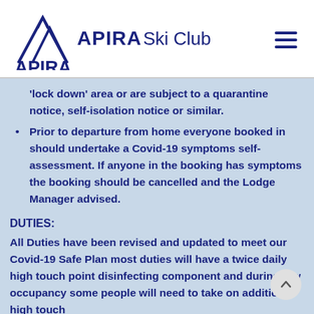[Figure (logo): APIRA Ski Club logo with mountain peaks icon and text]
'lock down' area or are subject to a quarantine notice, self-isolation notice or similar.
Prior to departure from home everyone booked in should undertake a Covid-19 symptoms self-assessment. If anyone in the booking has symptoms the booking should be cancelled and the Lodge Manager advised.
DUTIES:
All Duties have been revised and updated to meet our Covid-19 Safe Plan most duties will have a twice daily high touch point disinfecting component and during low occupancy some people will need to take on additional high touch